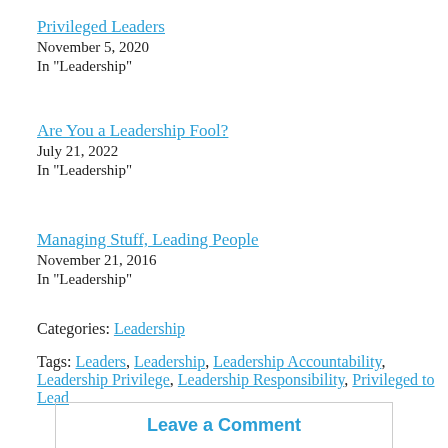Privileged Leaders
November 5, 2020
In "Leadership"
Are You a Leadership Fool?
July 21, 2022
In "Leadership"
Managing Stuff, Leading People
November 21, 2016
In "Leadership"
Categories: Leadership
Tags: Leaders, Leadership, Leadership Accountability, Leadership Privilege, Leadership Responsibility, Privileged to Lead
Leave a Comment